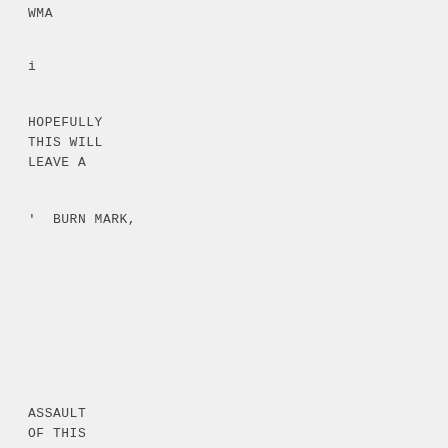WMA
i
HOPEFULLY
THIS WILL
LEAVE A
' BURN MARK,
ASSAULT
OF THIS